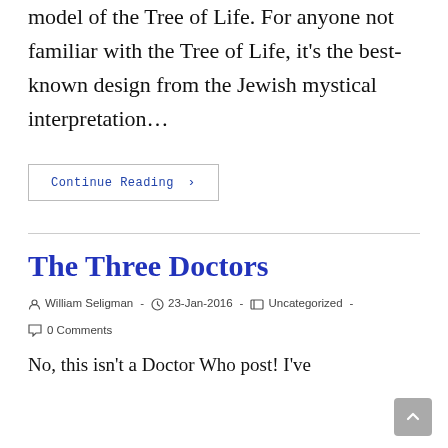model of the Tree of Life. For anyone not familiar with the Tree of Life, it's the best-known design from the Jewish mystical interpretation…
Continue Reading ›
The Three Doctors
William Seligman  -  23-Jan-2016  -  Uncategorized  -  0 Comments
No, this isn't a Doctor Who post! I've